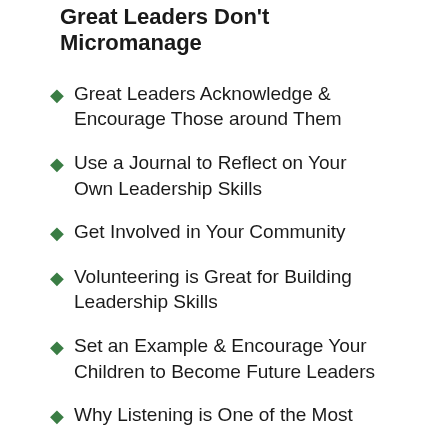Great Leaders Don't Micromanage
Great Leaders Acknowledge & Encourage Those around Them
Use a Journal to Reflect on Your Own Leadership Skills
Get Involved in Your Community
Volunteering is Great for Building Leadership Skills
Set an Example & Encourage Your Children to Become Future Leaders
Why Listening is One of the Most